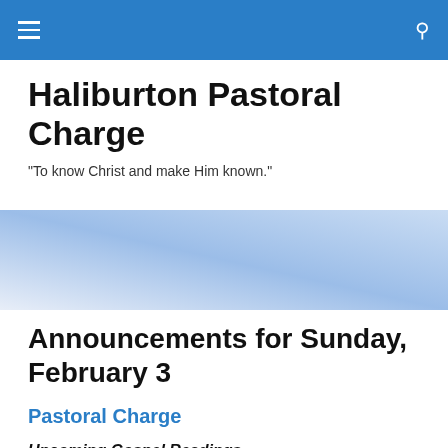Haliburton Pastoral Charge — navigation bar
Haliburton Pastoral Charge
"To know Christ and make Him known."
[Figure (photo): Sky gradient photo banner, light blue fading from upper right to lower left]
Announcements for Sunday, February 3
Pastoral Charge
Upcoming Gospel Readings